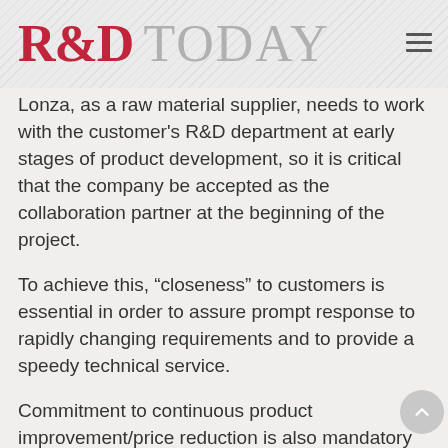R&D TODAY
Lonza, as a raw material supplier, needs to work with the customer's R&D department at early stages of product development, so it is critical that the company be accepted as the collaboration partner at the beginning of the project.
To achieve this, “closeness” to customers is essential in order to assure prompt response to rapidly changing requirements and to provide a speedy technical service.
Commitment to continuous product improvement/price reduction is also mandatory in order to retain/enhance market share in Japan.
Any foreign-based company interested in building business must have technology/products that are very unique and attractive to the Japanese market.